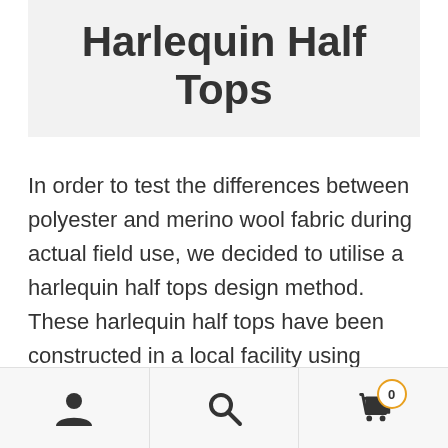Harlequin Half Tops
In order to test the differences between polyester and merino wool fabric during actual field use, we decided to utilise a harlequin half tops design method. These harlequin half tops have been constructed in a local facility using
[Figure (infographic): Bottom navigation bar with three icons: user/account icon, search/magnifying glass icon, and shopping bag icon with a badge showing '0']